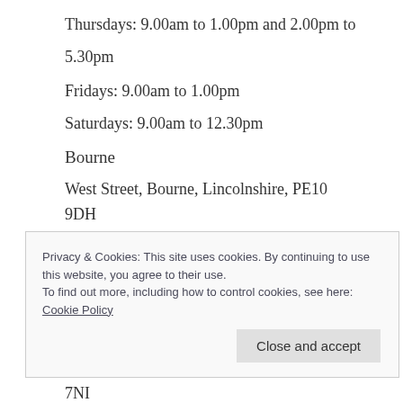Thursdays: 9.00am to 1.00pm and 2.00pm to 5.30pm
Fridays: 9.00am to 1.00pm
Saturdays: 9.00am to 12.30pm
Bourne
West Street, Bourne, Lincolnshire, PE10 9DH
Mondays: 9.00am to 5.30pm
Tuesdays: 9.00am to 5.30pm
Wednesdays: 9.00am to 5.30pm
Thursdays: 9.00am to 5.30pm
Privacy & Cookies: This site uses cookies. By continuing to use this website, you agree to their use.
To find out more, including how to control cookies, see here: Cookie Policy
Close and accept
7NI